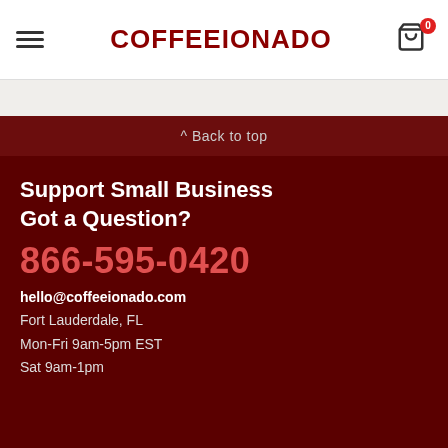COFFEEIONADO
^ Back to top
Support Small Business
Got a Question?
866-595-0420
hello@coffeeionado.com
Fort Lauderdale, FL
Mon-Fri 9am-5pm EST
Sat 9am-1pm